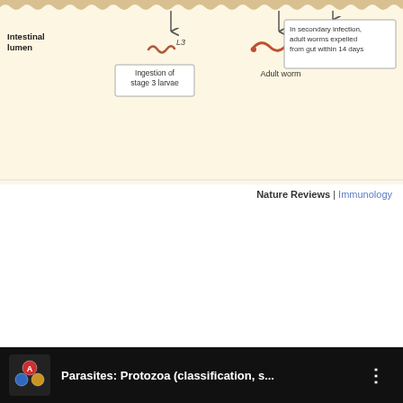[Figure (schematic): Intestinal lumen diagram showing stage 3 larvae (L3) ingestion and adult worm, with note that in secondary infection adult worms are expelled from gut within 14 days. Arrows indicate progression from ingestion to adult stage.]
Nature Reviews | Immunology
[Figure (screenshot): Video thumbnail for 'Parasites: Protozoa (classification, s...' with molecule icon on black background and three-dot menu icon.]